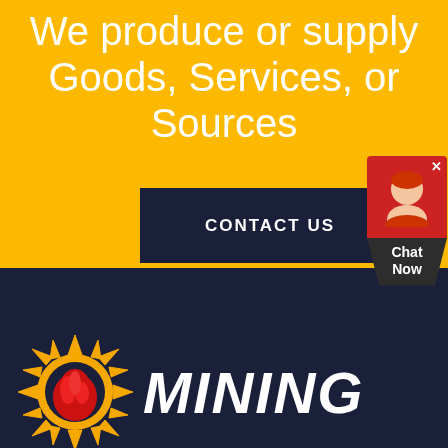We produce or supply Goods, Services, or Sources
CONTACT US
[Figure (illustration): Chat Now widget with red background, avatar icon, X close button, and dark chevron label saying 'Chat Now']
[Figure (logo): Mining company logo: sun/gear icon with red flame center on dark navy background, with bold white italic text 'MINING']